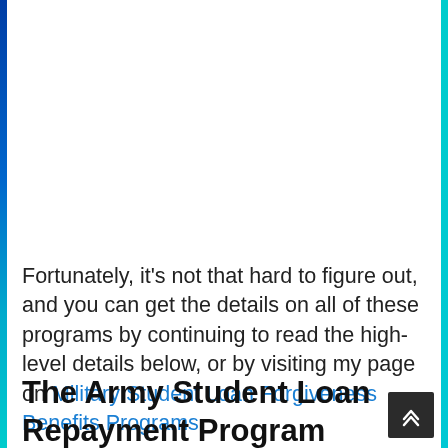Fortunately, it's not that hard to figure out, and you can get the details on all of these programs by continuing to read the high-level details below, or by visiting my page on Military Student Loan Forgiveness Benefits Programs.
The Army Student Loan Repayment Program (SLRP)